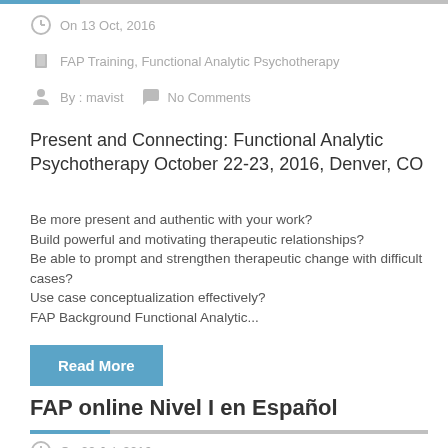On 13 Oct, 2016
FAP Training, Functional Analytic Psychotherapy
By : mavist   No Comments
Present and Connecting:  Functional Analytic Psychotherapy October 22-23, 2016, Denver, CO
Be more present and authentic with your work?
Build powerful and motivating therapeutic relationships?
Be able to prompt and strengthen therapeutic change with difficult cases?
Use case conceptualization effectively?
FAP Background Functional Analytic...
Read More
FAP online Nivel I en Español
On 22 Jul, 2016